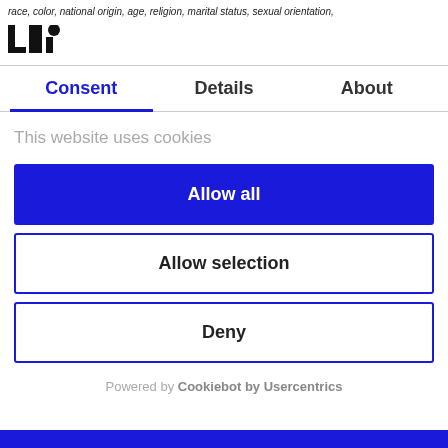race, color, national origin, age, religion, marital status, sexual orientation,
[Figure (logo): LHI logo with a circle on the letter i]
Consent	Details	About
This website uses cookies
Allow all
Allow selection
Deny
Powered by Cookiebot by Usercentrics